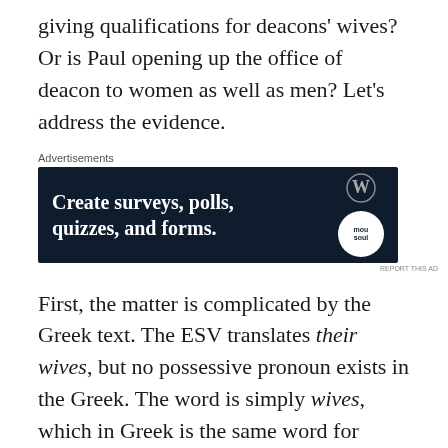giving qualifications for deacons' wives? Or is Paul opening up the office of deacon to women as well as men? Let's address the evidence.
[Figure (other): Advertisement banner: dark navy background with white bold text reading 'Create surveys, polls, quizzes, and forms.' with a WordPress logo and a circular moon/soul badge on the right.]
First, the matter is complicated by the Greek text. The ESV translates their wives, but no possessive pronoun exists in the Greek. The word is simply wives, which in Greek is the same word for women. A more literal translation, therefore, would be either wives likewise or women likewise. In this, the NASB furthers its reputation for being the most literal English translation. The answer then, is